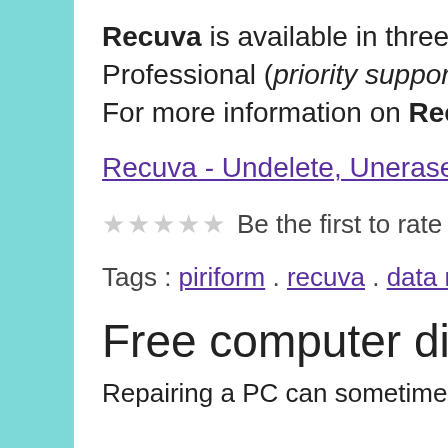Recuva is available in three editions: Free (no support), Professional (priority support), and Business (premium support). For more information on Recuva, just follow the link below:
Recuva - Undelete, Unerase, File and Disk Recovery
★★★★★ Be the first to rate this post
Tags : piriform . recuva . data recovery . file recovery . undelete file
Free computer diagnostics
Repairing a PC can sometimes be expensive,